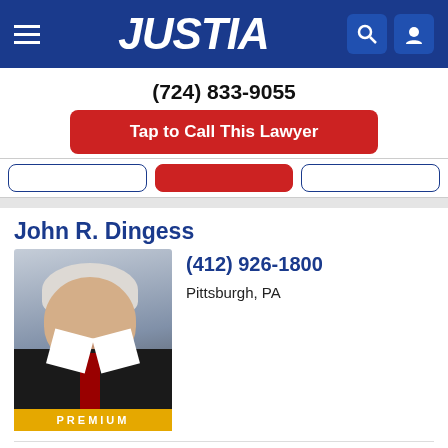JUSTIA
(724) 833-9055
Tap to Call This Lawyer
John R. Dingess
(412) 926-1800
Pittsburgh, PA
PREMIUM
Website | Call | Email
Recent (1) | Saved (0) | Compare (0/3)